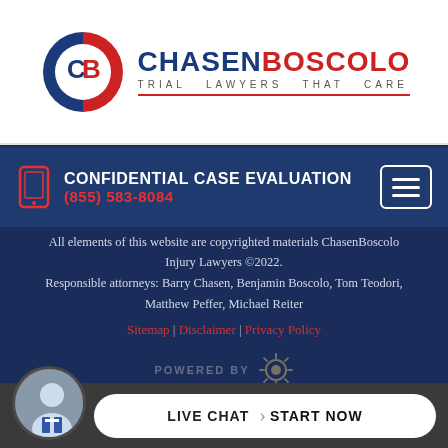[Figure (logo): ChasenBoscolo Trial Lawyers That Care logo — circular CB emblem in blue and red, text CHASEN in navy BOSCOLO in red, subtitle TRIAL LAWYERS THAT CARE]
CONFIDENTIAL CASE EVALUATION
(855) 583-8084
All elements of this website are copyrighted materials ChasenBoscolo Injury Lawyers ©2022.
Responsible attorneys: Barry Chasen, Benjamin Boscolo, Tom Teodori, Matthew Peffer, Michael Reiter
Sitemap | Disclaimer | Privacy Policy
[Figure (logo): Powered by logo with gear/sun icon in muted gold/grey]
LIVE CHAT  START NOW